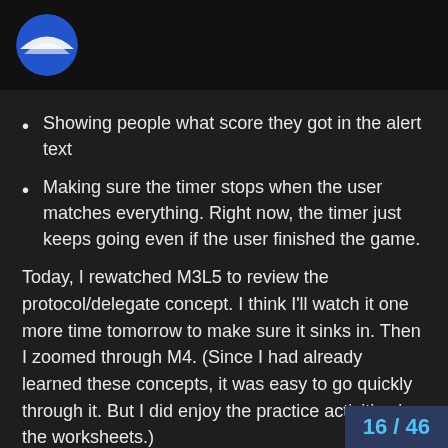[Logo/avatar circle]
Showing people what score they got in the alert text
Making sure the timer stops when the user matches everything. Right now, the timer just keeps going even if the user finished the game.
Today, I rewatched M3L5 to review the protocol/delegate concept. I think I'll watch it one more time tomorrow to make sure it sinks in. Then I zoomed through M4. (Since I had already learned these concepts, it was easy to go quickly through it. But I did enjoy the practice activities in the worksheets.)
[Figure (other): Thinking face emoji]
I have some questions for anyone further along in programming than me. Mods? Andrew? ( @mikaelacaron @Chris Parker @RedFox1 ) I hope it's ok that I asked you it's not, let me know and I won't do it again
16 / 46